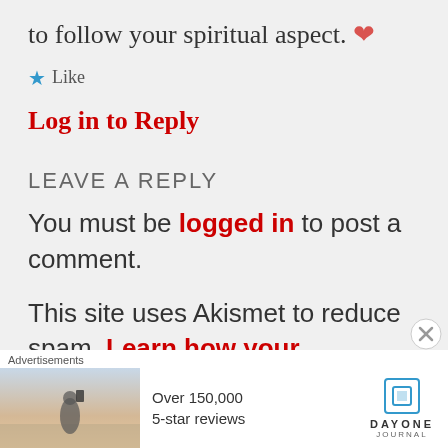to follow your spiritual aspect. ❤
★ Like
Log in to Reply
LEAVE A REPLY
You must be logged in to post a comment.
This site uses Akismet to reduce spam. Learn how your comment
Advertisements
[Figure (screenshot): Advertisement banner: person photographing scenery, Over 150,000 5-star reviews, Day One Journal logo]